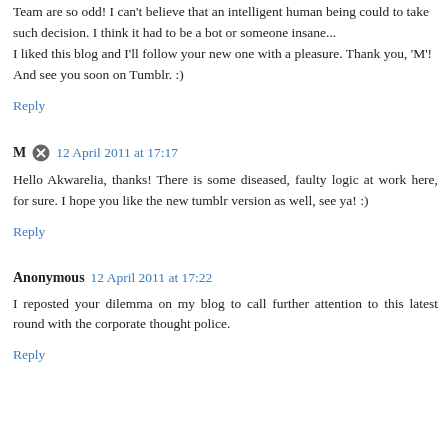Team are so odd! I can't believe that an intelligent human being could to take such decision. I think it had to be a bot or someone insane...
I liked this blog and I'll follow your new one with a pleasure. Thank you, 'M'! And see you soon on Tumblr. :)
Reply
M  12 April 2011 at 17:17
Hello Akwarelia, thanks! There is some diseased, faulty logic at work here, for sure. I hope you like the new tumblr version as well, see ya! :)
Reply
Anonymous  12 April 2011 at 17:22
I reposted your dilemma on my blog to call further attention to this latest round with the corporate thought police.
Reply